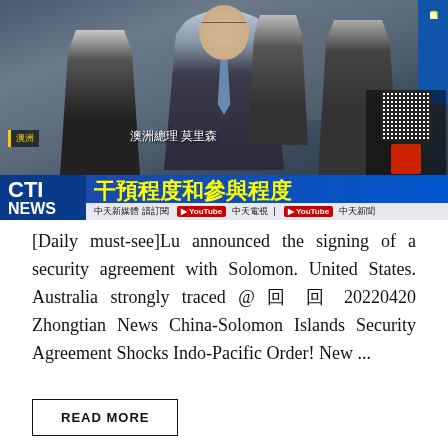[Figure (screenshot): CTI News broadcast screenshot showing Australian Prime Minister Morrison speaking at a podium with aides behind him. Lower third shows Chinese text '干預程度和參與程度' in yellow on blue bar, CTI NEWS logo, and subscription info for YouTube channels. Right side shows a vertical blue banner with Chinese characters and a QR code area.]
[Daily must-see]Lu announced the signing of a security agreement with Solomon. United States. Australia strongly traced @ 回 回 20220420 Zhongtian News China-Solomon Islands Security Agreement Shocks Indo-Pacific Order! New ...
READ MORE